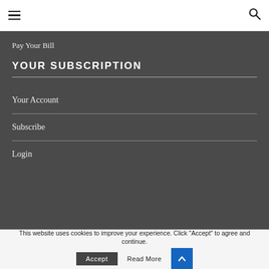≡   🔍
Pay Your Bill
YOUR SUBSCRIPTION
Your Account
Subscribe
Login
This website uses cookies to improve your experience. Click "Accept" to agree and continue.